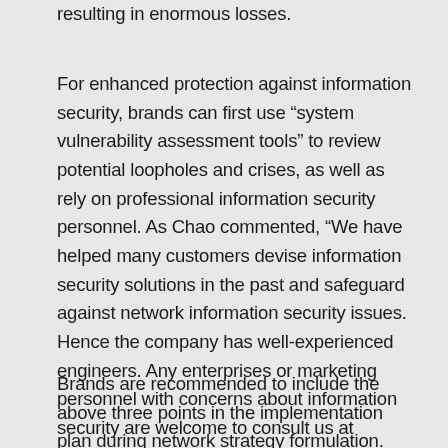resulting in enormous losses.
For enhanced protection against information security, brands can first use “system vulnerability assessment tools” to review potential loopholes and crises, as well as rely on professional information security personnel. As Chao commented, “We have helped many customers devise information security solutions in the past and safeguard against network information security issues. Hence the company has well-experienced engineers. Any enterprises or marketing personnel with concerns about information security are welcome to consult us at project@5xruby.com.
Brands are recommended to include the above three points in the implementation plan during network strategy formulation. Once the ship has a strong basic structure, it can carry more